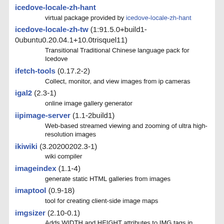icedove-locale-zh-hant — virtual package provided by icedove-locale-zh-hant
icedove-locale-zh-tw (1:91.5.0+build1-0ubuntu0.20.04.1+10.0trisquel11) — Transitional Traditional Chinese language pack for Icedove
ifetch-tools (0.17.2-2) — Collect, monitor, and view images from ip cameras
igal2 (2.3-1) — online image gallery generator
iipimage-server (1.1-2build1) — Web-based streamed viewing and zooming of ultra high-resolution images
ikiwiki (3.20200202.3-1) — wiki compiler
imageindex (1.1-4) — generate static HTML galleries from images
imaptool (0.9-18) — tool for creating client-side image maps
imgsizer (2.10-0.1) — Adds WIDTH and HEIGHT attributes to IMG tags in HTML files
ip2host (1.13-2) — Resolve IPs to hostnames in web server logs
java2html (0.9.2-6ubuntu1) — Highlight Java and C++ sources for WWW